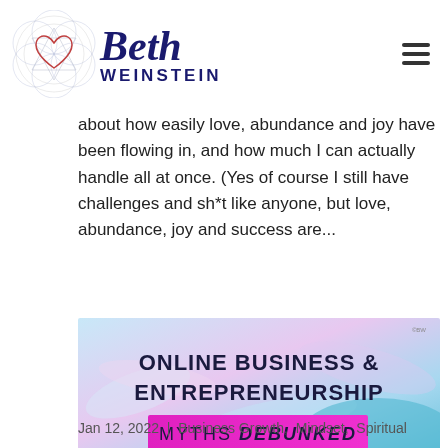Beth Weinstein
about how easily love, abundance and joy have been flowing in, and how much I can actually handle all at once. (Yes of course I still have challenges and sh*t like anyone, but love, abundance, joy and success are...
[Figure (illustration): Promotional image with pastel blue and pink background with feathers, text reading ONLINE BUSINESS & ENTREPRENEURSHIP with MYTHS DEBUNKED on a magenta/pink band]
Online Business & Entrepreneurship Myths Debunked
Jan 12, 2022  |  Business Growth,  Mindset,  Spiritual